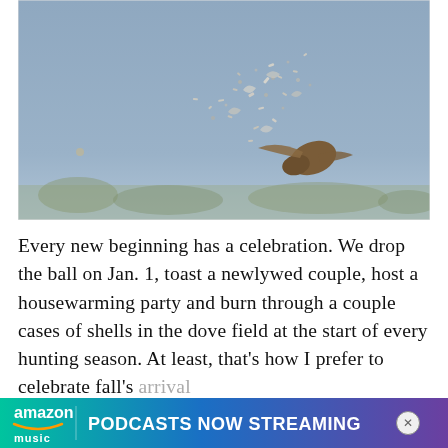[Figure (photo): A bird in flight against a grey-blue sky, with an explosion of feathers or confetti dispersing from its body, suggesting a dramatic moment of impact or release. Some dry vegetation visible at the bottom of the frame.]
Every new beginning has a celebration. We drop the ball on Jan. 1, toast a newlywed couple, host a housewarming party and burn through a couple cases of shells in the dove field at the start of every hunting season. At least, that's how I prefer to celebrate fall's arrival
[Figure (infographic): Amazon Music advertisement banner: gradient teal-to-purple background with Amazon Music logo and text reading 'PODCASTS NOW STREAMING']